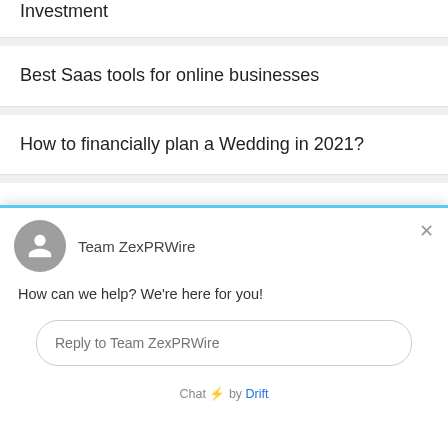Investment
Best Saas tools for online businesses
How to financially plan a Wedding in 2021?
Business at an All Time High
Proud on why we need to Support the
Team ZexPRWire
How can we help? We're here for you!
Reply to Team ZexPRWire
Chat ⚡ by Drift